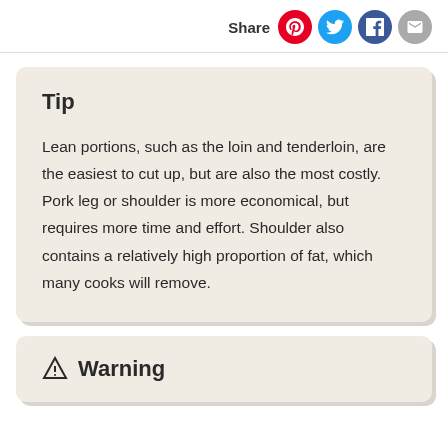Share
Tip
Lean portions, such as the loin and tenderloin, are the easiest to cut up, but are also the most costly. Pork leg or shoulder is more economical, but requires more time and effort. Shoulder also contains a relatively high proportion of fat, which many cooks will remove.
Warning